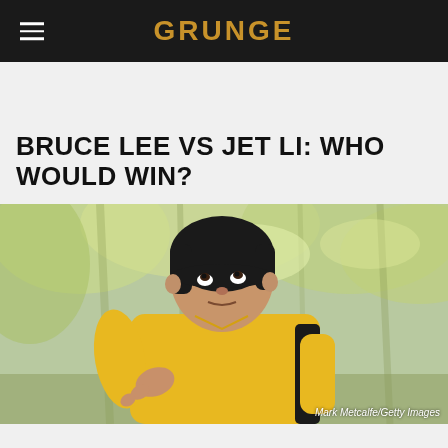GRUNGE
BRUCE LEE VS JET LI: WHO WOULD WIN?
[Figure (photo): Man dressed in yellow tracksuit resembling Bruce Lee, with black bowl-cut hair, looking upward, pointing finger, with blurred green trees in background. Photo credit: Mark Metcalfe/Getty Images]
Mark Metcalfe/Getty Images